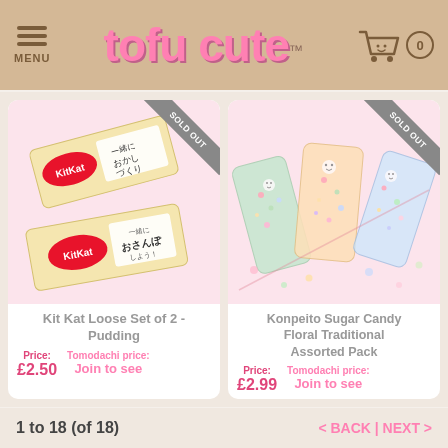tofu cute™ — MENU | Cart (0)
[Figure (photo): Kit Kat Loose Set of 2 - Pudding flavour Japanese Kit Kat bars with Japanese text on pink background, with SOLD OUT ribbon]
Kit Kat Loose Set of 2 - Pudding
Price: £2.50   Tomodachi price: Join to see
[Figure (photo): Konpeito Sugar Candy Floral Traditional Assorted Pack - pastel coloured Japanese konpeito sugar candies in bags on pink background, with SOLD OUT ribbon]
Konpeito Sugar Candy Floral Traditional Assorted Pack
Price: £2.99   Tomodachi price: Join to see
1 to 18 (of 18)    < BACK | NEXT >